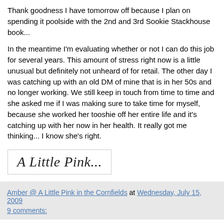Thank goodness I have tomorrow off because I plan on spending it poolside with the 2nd and 3rd Sookie Stackhouse book...
In the meantime I'm evaluating whether or not I can do this job for several years. This amount of stress right now is a little unusual but definitely not unheard of for retail. The other day I was catching up with an old DM of mine that is in her 50s and no longer working. We still keep in touch from time to time and she asked me if I was making sure to take time for myself, because she worked her tooshie off her entire life and it's catching up with her now in her health. It really got me thinking... I know she's right.
[Figure (illustration): Cursive signature reading 'A Little Pink...' inside a light bordered box]
Amber @ A Little Pink in the Cornfields at Wednesday, July 15, 2009    9 comments: